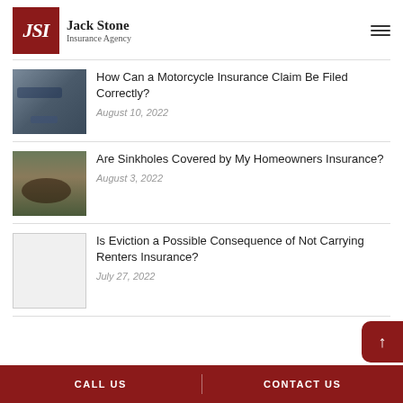[Figure (logo): Jack Stone Insurance Agency logo with JSI initials in dark red box]
How Can a Motorcycle Insurance Claim Be Filed Correctly? — August 10, 2022
Are Sinkholes Covered by My Homeowners Insurance? — August 3, 2022
Is Eviction a Possible Consequence of Not Carrying Renters Insurance? — July 27, 2022
CALL US | CONTACT US